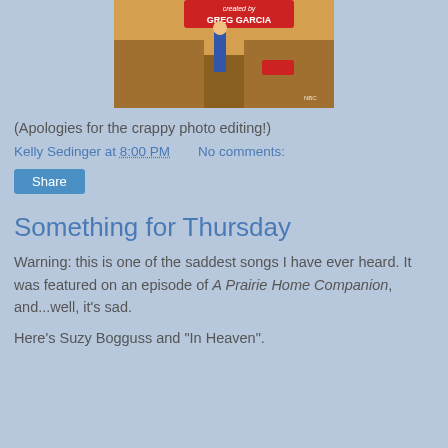[Figure (screenshot): Screenshot of a TV show title card with 'created by GREG GARCIA' text, showing a man in a blue suit walking outside a motel]
(Apologies for the crappy photo editing!)
Kelly Sedinger at 8:00 PM    No comments:
Share
Something for Thursday
Warning: this is one of the saddest songs I have ever heard. It was featured on an episode of A Prairie Home Companion, and...well, it's sad.
Here's Suzy Bogguss and "In Heaven".